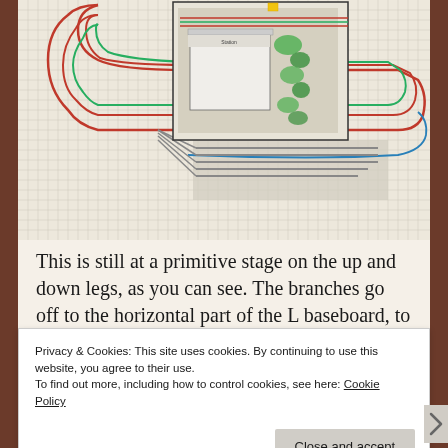[Figure (schematic): Model railway track plan diagram showing an L-shaped layout with multiple tracks, curves, and a station area. The plan shows colored track lines (red, green, blue) forming loops and branches, with a detailed inset showing the station/yard area with buildings and green scenery. The layout is drawn on a grid background.]
This is still at a primitive stage on the up and down legs, as you can see. The branches go off to the horizontal part of the L baseboard, to be added and connected later. I've retained
Privacy & Cookies: This site uses cookies. By continuing to use this website, you agree to their use.
To find out more, including how to control cookies, see here: Cookie Policy
Close and accept